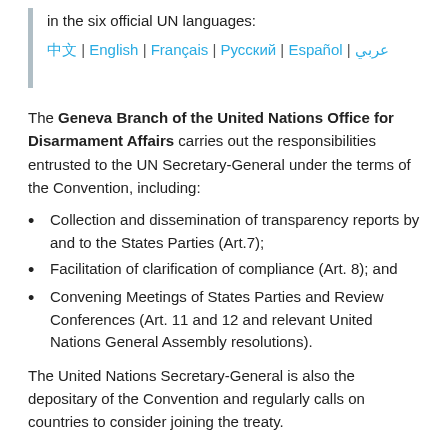in the six official UN languages:
عربي | 中文 | English | Français | Русский | Español
The Geneva Branch of the United Nations Office for Disarmament Affairs carries out the responsibilities entrusted to the UN Secretary-General under the terms of the Convention, including:
Collection and dissemination of transparency reports by and to the States Parties (Art.7);
Facilitation of clarification of compliance (Art. 8); and
Convening Meetings of States Parties and Review Conferences (Art. 11 and 12 and relevant United Nations General Assembly resolutions).
The United Nations Secretary-General is also the depositary of the Convention and regularly calls on countries to consider joining the treaty.